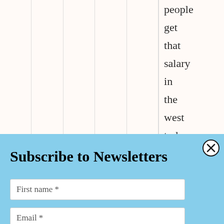people get that salary in the west today. Very
Subscribe to Newsletters
First name *
Email *